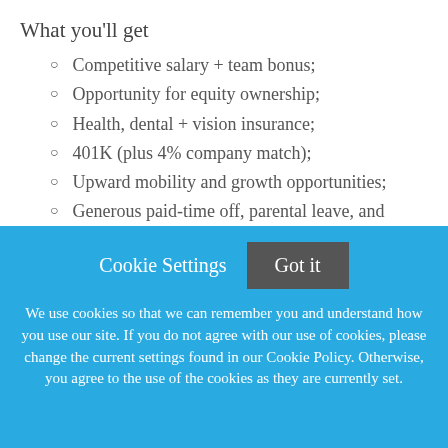What you'll get
Competitive salary + team bonus;
Opportunity for equity ownership;
Health, dental + vision insurance;
401K (plus 4% company match);
Upward mobility and growth opportunities;
Generous paid-time off, parental leave, and company wide holidays;
CitiBike membership, HealthAdvocate membership, One Medical membership,
Cookie Settings   Got it

We use cookies so that we can remember you and understand how you use our site. If you do not agree with our use of cookies, please change the current settings found in our Cookie Policy. Otherwise, you agree to the use of the cookies as they are currently set.